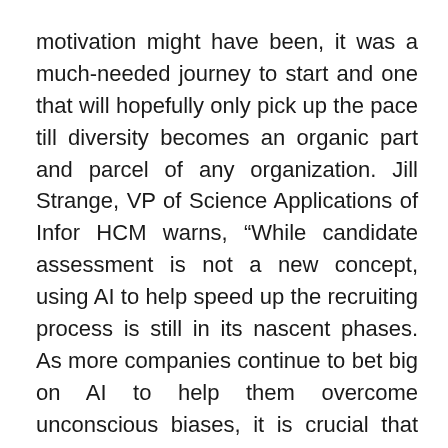motivation might have been, it was a much-needed journey to start and one that will hopefully only pick up the pace till diversity becomes an organic part and parcel of any organization. Jill Strange, VP of Science Applications of Infor HCM warns, “While candidate assessment is not a new concept, using AI to help speed up the recruiting process is still in its nascent phases. As more companies continue to bet big on AI to help them overcome unconscious biases, it is crucial that HR leaders work with AI throughout the hiring process, rather than relying on it to solve institutional bias,”
With diversity, despite the multiple strings of conversation around the topic, the process has been relatively slow since stereotyping, being